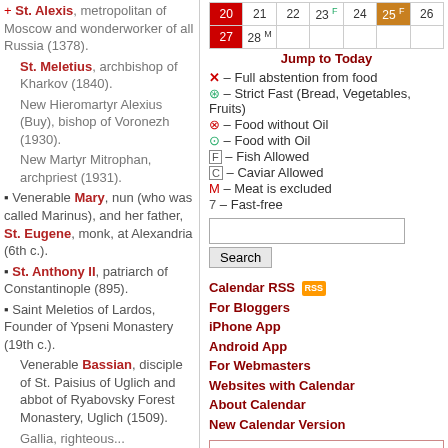+ St. Alexis, metropolitan of Moscow and wonderworker of all Russia (1378).
St. Meletius, archbishop of Kharkov (1840).
New Hieromartyr Alexius (Buy), bishop of Voronezh (1930).
New Martyr Mitrophan, archpriest (1931).
• Venerable Mary, nun (who was called Marinus), and her father, St. Eugene, monk, at Alexandria (6th c.).
• St. Anthony II, patriarch of Constantinople (895).
• Saint Meletios of Lardos, Founder of Ypseni Monastery (19th c.).
Venerable Bassian, disciple of St. Paisius of Uglich and abbot of Ryabovsky Forest Monastery, Uglich (1509).
Gallia, righteous...
| 20 | 21 | 22 | 23 F | 24 | 25 F | 26 |
| --- | --- | --- | --- | --- | --- | --- |
| 27 | 28 M |  |  |  |  |  |
Jump to Today
✕ – Full abstention from food
⊛ – Strict Fast (Bread, Vegetables, Fruits)
⊗ – Food without Oil
⊙ – Food with Oil
F – Fish Allowed
C – Caviar Allowed
M – Meat is excluded
7 – Fast-free
Calendar RSS | For Bloggers | iPhone App | Android App | For Webmasters | Websites with Calendar | About Calendar | New Calendar Version
Paschalion
Feb 13 – Sunday of the Publican and Pharisee